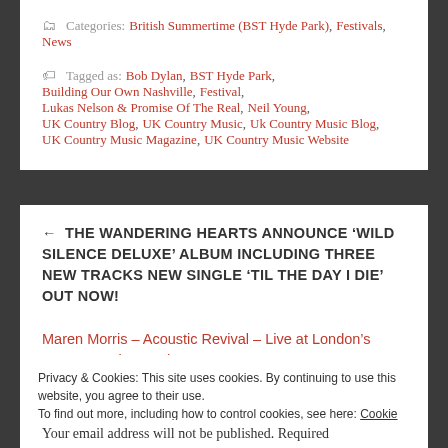Categories: British Summertime (BST Hyde Park), Festivals, News
Tagged as: Bob Dylan, BST Hyde Park, Building Our Own Nashville, Festival, Lukas Nelson & Promise Of The Real, Neil Young, UK Country Blog, UK Country Music, Uk Country Music Blog, UK Country Music Magazine, UK Country Music Website
← THE WANDERING HEARTS ANNOUNCE 'WILD SILENCE DELUXE' ALBUM INCLUDING THREE NEW TRACKS NEW SINGLE 'TIL THE DAY I DIE' OUT NOW!
Maren Morris – Acoustic Revival – Live at London's Omeara – Live Review ***** →
Privacy & Cookies: This site uses cookies. By continuing to use this website, you agree to their use. To find out more, including how to control cookies, see here: Cookie Policy
Close and accept
Your email address will not be published. Required